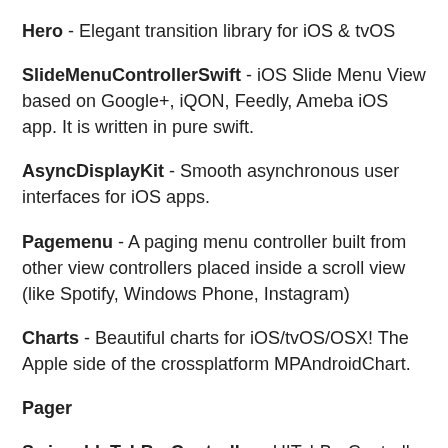Hero - Elegant transition library for iOS & tvOS
SlideMenuControllerSwift - iOS Slide Menu View based on Google+, iQON, Feedly, Ameba iOS app. It is written in pure swift.
AsyncDisplayKit - Smooth asynchronous user interfaces for iOS apps.
Pagemenu - A paging menu controller built from other view controllers placed inside a scroll view (like Spotify, Windows Phone, Instagram)
Charts - Beautiful charts for iOS/tvOS/OSX! The Apple side of the crossplatform MPAndroidChart.
Pager
SwipeableTabBarController - UITabBarController with swipe interaction between its tabs.